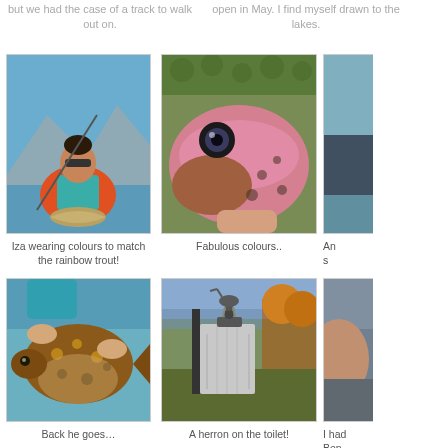but we had the case of a track to walk out on.
open in May. I find myself drawn to the lakes.
[Figure (photo): Iza holding a rainbow trout while standing in water, wearing colorful clothes and sunglasses, with a fishing rod overhead and mountains in background]
Iza wearing colours to match the rainbow trout!
[Figure (photo): Close-up of a rainbow trout head being held by a hand, showing vivid pink and blue colors]
Fabulous colours..
[Figure (photo): Partial photo on the right edge, cropped off]
An s
[Figure (photo): Someone holding a large brown trout in clear water, releasing it back]
Back he goes…
[Figure (photo): A heron perched on what appears to be a toilet or outhouse structure outdoors near autumn trees and a lake]
A herron on the toilet!
[Figure (photo): Partial photo on right edge, person with something]
I had Ben tr